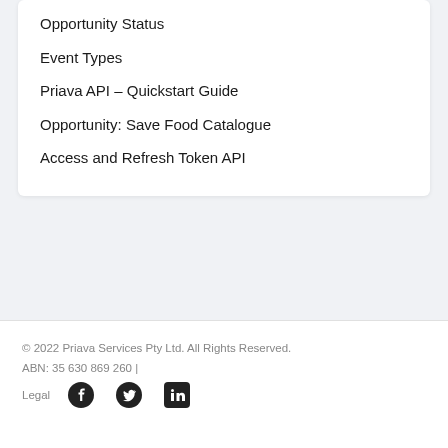Opportunity Status
Event Types
Priava API – Quickstart Guide
Opportunity: Save Food Catalogue
Access and Refresh Token API
© 2022 Priava Services Pty Ltd. All Rights Reserved. ABN: 35 630 869 260 | Legal